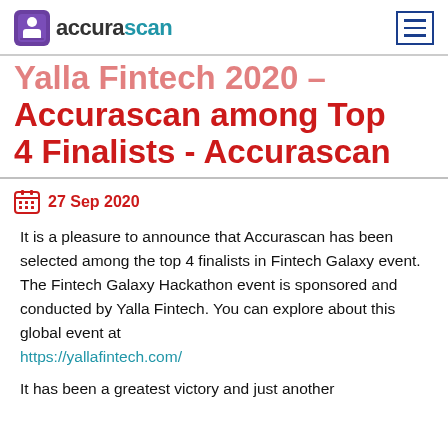accurascan [logo] [hamburger menu]
Yalla Fintech 2020 – Accurascan among Top 4 Finalists - Accurascan
27 Sep 2020
It is a pleasure to announce that Accurascan has been selected among the top 4 finalists in Fintech Galaxy event. The Fintech Galaxy Hackathon event is sponsored and conducted by Yalla Fintech. You can explore about this global event at https://yallafintech.com/
It has been a greatest victory and just another